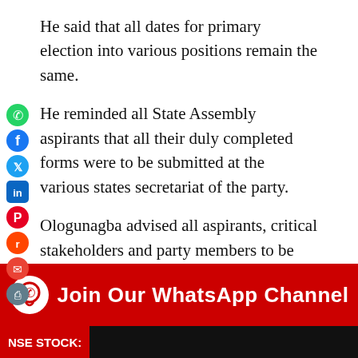He said that all dates for primary election into various positions remain the same.
He reminded all State Assembly aspirants that all their duly completed forms were to be submitted at the various states secretariat of the party.
Ologunagba advised all aspirants, critical stakeholders and party members to be guided accordingly.
It was reported that the PDP had said the last day for the purchase of all forms was extended to April 14, while the last day for the submission of all forms was extended to April 17.
[Figure (infographic): Red banner with WhatsApp logo icon and text 'Join Our WhatsApp Channel' in white bold font]
NSE STOCK: